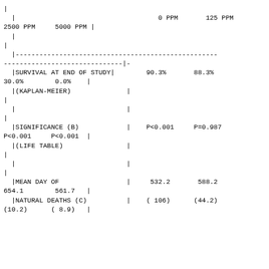|  | 0 PPM | 125 PPM | 2500 PPM | 5000 PPM |
| --- | --- | --- | --- | --- |
| SURVIVAL AT END OF STUDY (KAPLAN-MEIER) | 90.3% | 88.3% | 30.0% | 0.0% |
| SIGNIFICANCE (B) (LIFE TABLE) | P<0.001 | P=0.987 | P<0.001 | P<0.001 |
| MEAN DAY OF NATURAL DEATHS (C) | 532.2 (106) | 588.2 (44.2) | 654.1 (10.2) | 561.7 (8.9) |